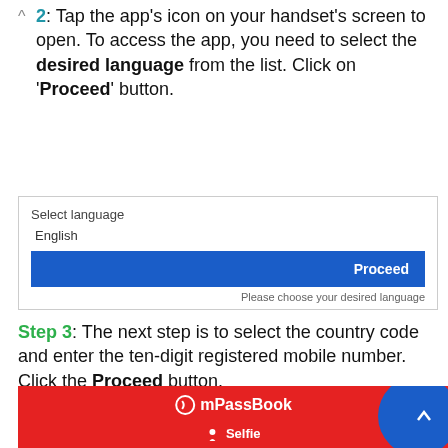2: Tap the app's icon on your handset's screen to open. To access the app, you need to select the desired language from the list. Click on 'Proceed' button.
[Figure (screenshot): A mobile app screenshot showing a language selection screen with 'Select language' label, 'English' value selected, a blue 'Proceed' button, and hint text 'Please choose your desired language'.]
Step 3: The next step is to select the country code and enter the ten-digit registered mobile number. Click the Proceed button.
[Figure (screenshot): Bottom banner showing mPassBook Selfie logo in red with blue curved section on the right.]